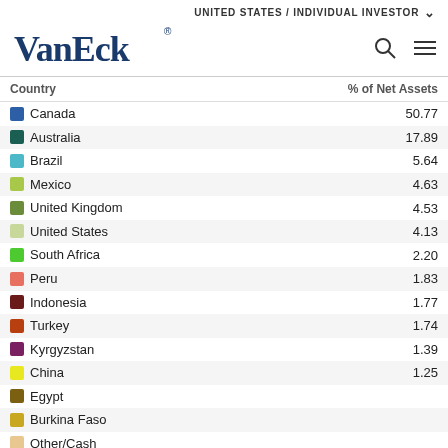UNITED STATES / INDIVIDUAL INVESTOR
[Figure (logo): VanEck logo in dark blue serif font with registered trademark symbol]
| Country | % of Net Assets |
| --- | --- |
| Canada | 50.77 |
| Australia | 17.89 |
| Brazil | 5.64 |
| Mexico | 4.63 |
| United Kingdom | 4.53 |
| United States | 4.13 |
| South Africa | 2.20 |
| Peru | 1.83 |
| Indonesia | 1.77 |
| Turkey | 1.74 |
| Kyrgyzstan | 1.39 |
| China | 1.25 |
| Egypt |  |
| Burkina Faso |  |
| Other/Cash |  |